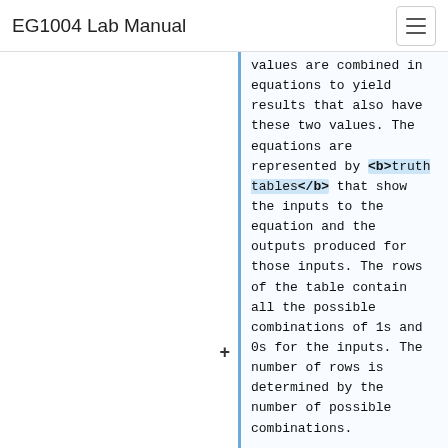EG1004 Lab Manual
values are combined in equations to yield results that also have these two values. The equations are represented by <b>truth tables</b> that show the inputs to the equation and the outputs produced for those inputs. The rows of the table contain all the possible combinations of 1s and 0s for the inputs. The number of rows is determined by the number of possible combinations.